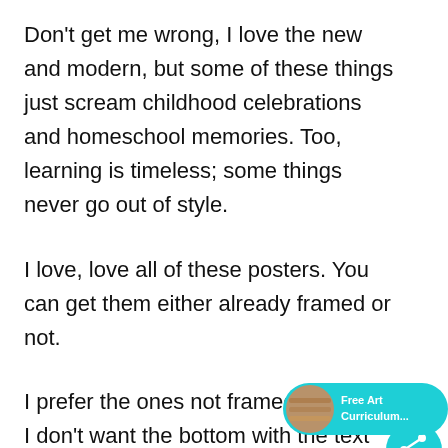Don't get me wrong, I love the new and modern, but some of these things just scream childhood celebrations and homeschool memories. Too, learning is timeless; some things never go out of style.
I love, love all of these posters. You can get them either already framed or not.
I prefer the ones not framed because I don't want the bottom with the text cut off.
[Figure (infographic): Teal circular social share widget with a number '1' shown on the right side of the page, overlapping the text area.]
[Figure (infographic): Free Art Curriculum badge — teal pill-shaped button with a small circular thumbnail image on the left and 'Free Art Curriculum...' text on the right.]